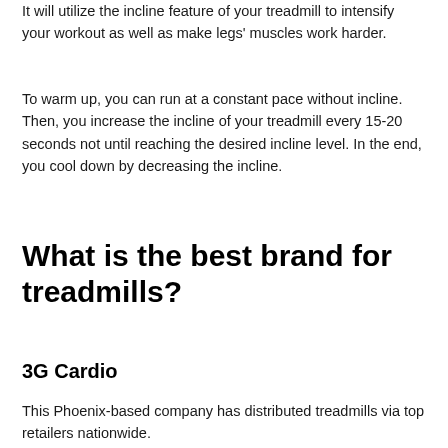It will utilize the incline feature of your treadmill to intensify your workout as well as make legs' muscles work harder.
To warm up, you can run at a constant pace without incline. Then, you increase the incline of your treadmill every 15-20 seconds not until reaching the desired incline level. In the end, you cool down by decreasing the incline.
What is the best brand for treadmills?
3G Cardio
This Phoenix-based company has distributed treadmills via top retailers nationwide.